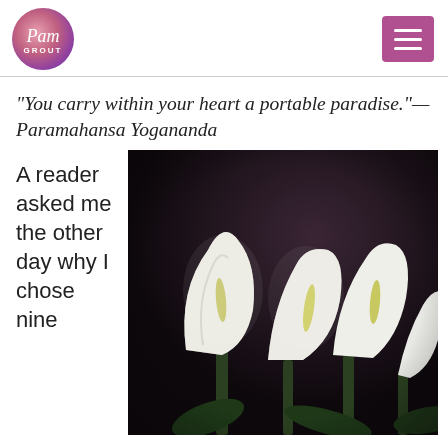Pam Grout
“You carry within your heart a portable paradise.”— Paramahansa Yogananda
A reader asked me the other day why I chose nine
[Figure (photo): Close-up photograph of white calla lily flowers against a dark background]